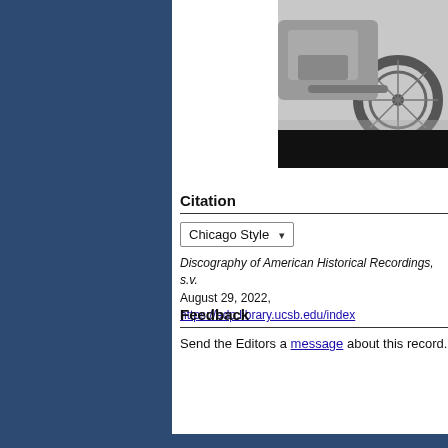[Figure (photo): Black and white photograph of a motorcycle, showing wheels and lower body, with a black bar below]
Citation
Chicago Style ▾
Discography of American Historical Recordings, s.v. August 29, 2022, https://adp.library.ucsb.edu/index
Feedback
Send the Editors a message about this record.